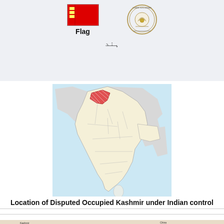[Figure (illustration): Red flag of Jammu and Kashmir with label Flag below it, and circular seal/emblem of Jammu and Kashmir beside it]
ہند
[Figure (map): Map of India showing location of Disputed Occupied Kashmir under Indian control, highlighted in red with hatching in the northern region]
Location of Disputed Occupied Kashmir under Indian control
[Figure (map): Detailed map of Kashmir region showing boundaries, with legend and China label visible]